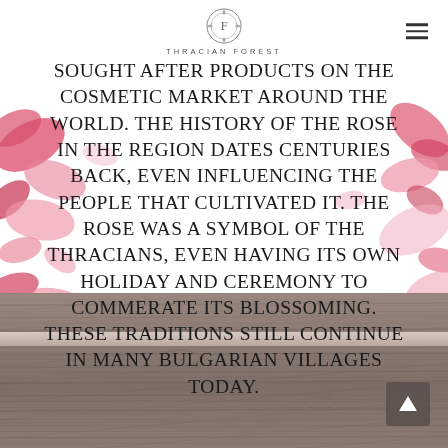THRACIAN FOREST
sought after products on the cosmetic market around the world. The history of the rose in the region dates centuries back, even influencing the people that cultivated it. The rose was a symbol of the Thracians, even having its own holiday and ceremony to commerate its blossoming. These traditions still continue in many Bulgarian villages today.
[Figure (illustration): Wood texture background panel at the bottom of the page with a scroll-to-top arrow button in the bottom-right corner]